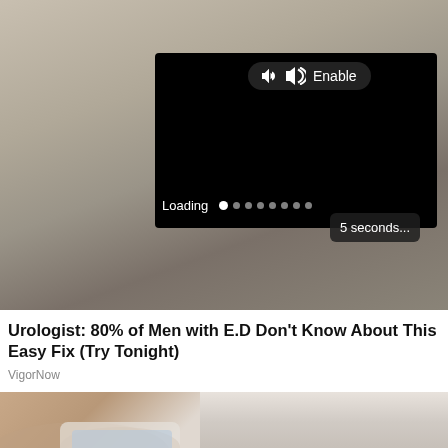[Figure (screenshot): Advertisement card showing a blurry close-up photo background with a video player overlay in the center-right. The video player shows a black screen with an 'Enable' audio button (speaker icon) at the top, a 'Loading' progress indicator with dots at the bottom left, and a '5 seconds...' countdown button at the bottom right.]
Urologist: 80% of Men with E.D Don't Know About This Easy Fix (Try Tonight)
VigorNow
[Figure (photo): Partial photo showing a hand holding what appears to be a small product container/tube, partially visible at the bottom of the page.]